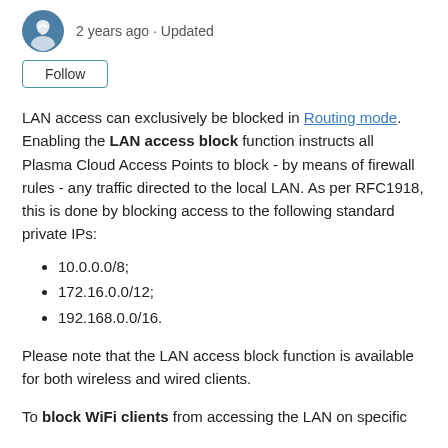2 years ago · Updated
Follow
LAN access can exclusively be blocked in Routing mode. Enabling the LAN access block function instructs all Plasma Cloud Access Points to block - by means of firewall rules - any traffic directed to the local LAN. As per RFC1918, this is done by blocking access to the following standard private IPs:
10.0.0.0/8;
172.16.0.0/12;
192.168.0.0/16.
Please note that the LAN access block function is available for both wireless and wired clients.
To block WiFi clients from accessing the LAN on specific